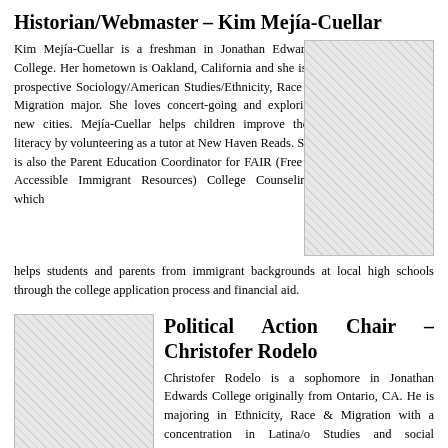Historian/Webmaster – Kim Mejía-Cuellar
Kim Mejía-Cuellar is a freshman in Jonathan Edwards College. Her hometown is Oakland, California and she is a prospective Sociology/American Studies/Ethnicity, Race & Migration major. She loves concert-going and exploring new cities. Mejía-Cuellar helps children improve their literacy by volunteering as a tutor at New Haven Reads. She is also the Parent Education Coordinator for FAIR (Free & Accessible Immigrant Resources) College Counseling, which helps students and parents from immigrant backgrounds at local high schools through the college application process and financial aid.
[Figure (photo): Photo of Kim Mejía-Cuellar outdoors with autumn foliage in the background, wearing a teal vest.]
[Figure (photo): Photo of Christofer Rodelo, a young man wearing glasses, smiling.]
Political Action Chair – Christofer Rodelo
Christofer Rodelo is a sophomore in Jonathan Edwards College originally from Ontario, CA. He is majoring in Ethnicity, Race & Migration with a concentration in Latina/o Studies and social movements. This semester, he is very excited about MEChA's initiatives in immigration reform and